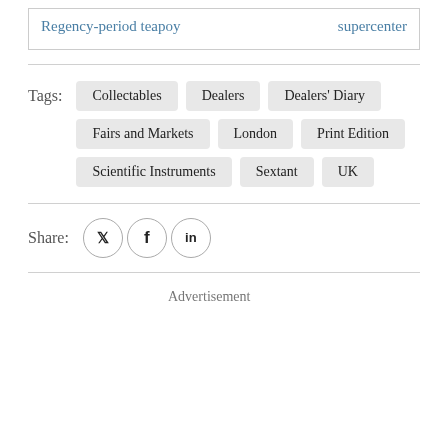Regency-period teapoy
supercenter
Tags:
Collectables
Dealers
Dealers' Diary
Fairs and Markets
London
Print Edition
Scientific Instruments
Sextant
UK
Share:
Advertisement